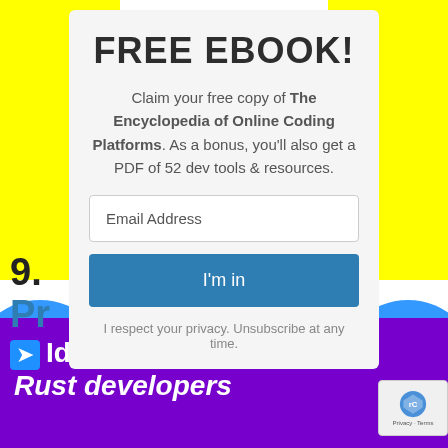FREE EBOOK!
Claim your free copy of The Encyclopedia of Online Coding Platforms. As a bonus, you'll also get a PDF of 52 dev tools & resources.
Email Address
I'm in
I respect your privacy. Unsubscribe at any time.
9.
Pr
Ideal for: advanced Rust developers